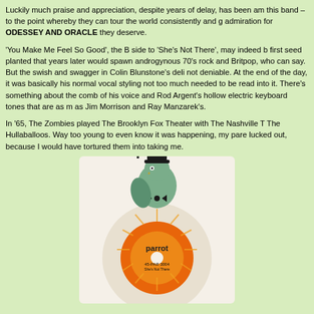Luckily much praise and appreciation, despite years of delay, has been afforded this band – to the point whereby they can tour the world consistently and garner admiration for ODESSEY AND ORACLE they deserve.
'You Make Me Feel So Good', the B side to 'She's Not There', may indeed be the first seed planted that years later would spawn androgynous 70's rock and Britpop, who can say. But the swish and swagger in Colin Blunstone's delivery is not deniable. At the end of the day, it was basically his normal vocal styling and not too much needed to be read into it. There's something about the combination of his voice and Rod Argent's hollow electric keyboard tones that are as much as Jim Morrison and Ray Manzarek's.
In '65, The Zombies played The Brooklyn Fox Theater with The Nashville Teens and The Hullaballoos. Way too young to even know it was happening, my parents lucked out, because I would have tortured them into taking me.
[Figure (photo): Photo of a Parrot Records 45 RPM single (catalog number 45-PAR 3004) showing the orange and yellow label with the parrot mascot illustration (a stylized parrot wearing a top hat and bow tie) on a white paper sleeve.]